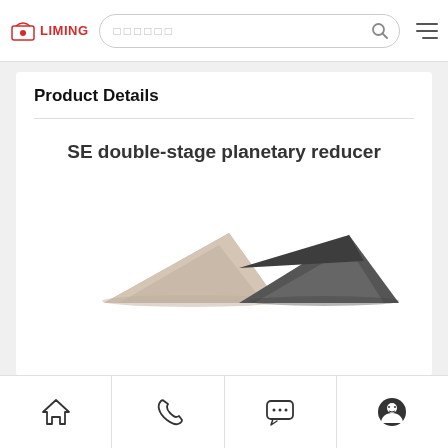LIMING [search bar] [menu]
Product Details
SE double-stage planetary reducer
[Figure (photo): Partial view of two SE double-stage planetary reducer units, one beige/tan colored and one dark gray, showing the top angular surfaces of the reducers against a white background.]